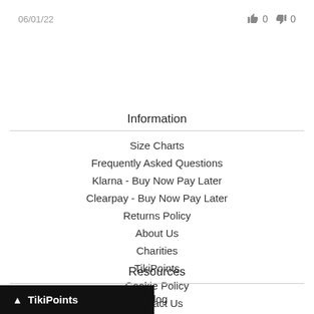06/01/22   👍 0   👎 0
Information
Size Charts
Frequently Asked Questions
Klarna - Buy Now Pay Later
Clearpay - Buy Now Pay Later
Returns Policy
About Us
Charities
TikiPoints
Cookie Policy
Contact Us
Resources
Blog
▲ TikiPoints